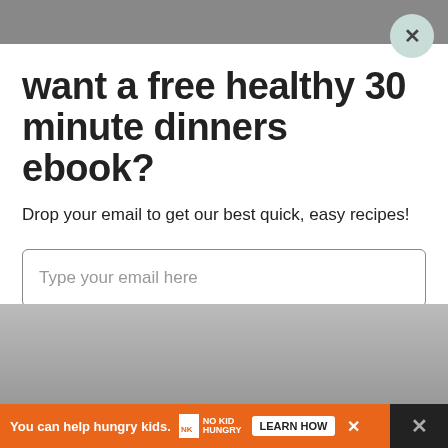want a free healthy 30 minute dinners ebook?
Drop your email to get our best quick, easy recipes!
Type your email here
SEND ME THE RECIPES!
You can help hungry kids. NO KID HUNGRY LEARN HOW